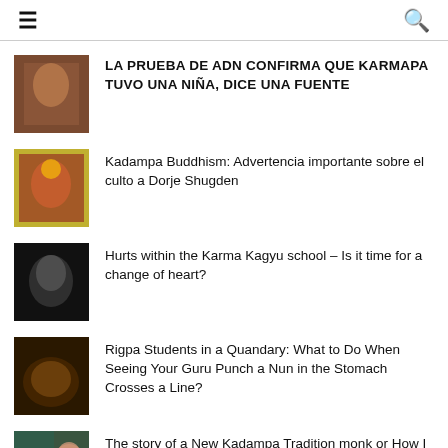≡  🔍
LA PRUEBA DE ADN CONFIRMA QUE KARMAPA TUVO UNA NIÑA, DICE UNA FUENTE
Kadampa Buddhism: Advertencia importante sobre el culto a Dorje Shugden
Hurts within the Karma Kagyu school – Is it time for a change of heart?
Rigpa Students in a Quandary: What to Do When Seeing Your Guru Punch a Nun in the Stomach Crosses a Line?
The story of a New Kadampa Tradition monk or How I got sucked into a cult
Some Reflections on Dzongsar Khyentse Rinpoche's Talk at Rigpa Berlin
Has the New Kadampa Tradition Apologized or